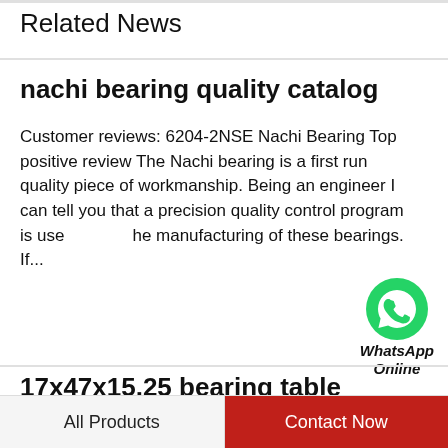Related News
nachi bearing quality catalog
Customer reviews: 6204-2NSE Nachi Bearing Top positive review The Nachi bearing is a first run quality piece of workmanship. Being an engineer I can tell you that a precision quality control program is used in the manufacturing of these bearings. If...
[Figure (logo): WhatsApp green circle icon with phone handset, labeled WhatsApp Online]
17x47x15.25 bearing table
17x47x15.25 metric cup & cone tapered roller bearing 30303Category: TAPERED ROLLER BEARINGS Tag: 17X47X15.25 METRIC CUP & CONE TAPERED ROLLER BEARING 30303. Reviews (0)
All Products   Contact Now